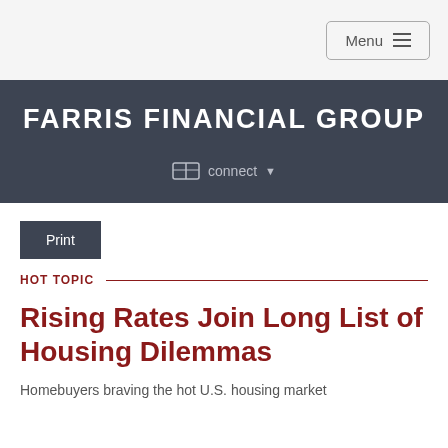Menu
FARRIS FINANCIAL GROUP
connect
Print
HOT TOPIC
Rising Rates Join Long List of Housing Dilemmas
Homebuyers braving the hot U.S. housing market